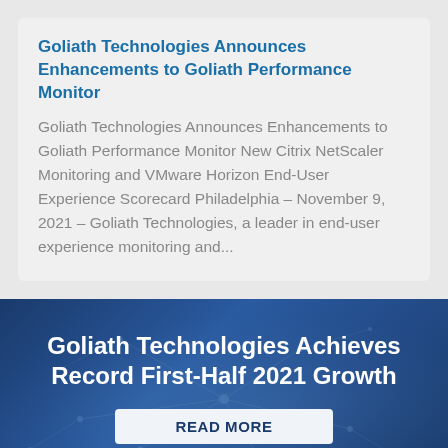Goliath Technologies Announces Enhancements to Goliath Performance Monitor
Goliath Technologies Announces Enhancements to Goliath Performance Monitor New Citrix NetScaler Monitoring and VMware Horizon End-User Experience Scorecard Philadelphia – November 9, 2021 – Goliath Technologies, a leader in end-user experience monitoring and...
[Figure (illustration): Dark blue banner with faint network/neural graph pattern in background]
Goliath Technologies Achieves Record First-Half 2021 Growth
READ MORE